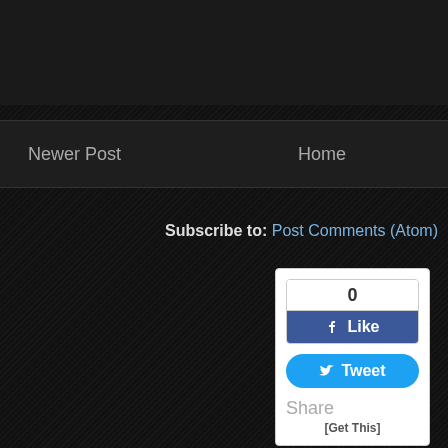Newer Post
Home
Subscribe to: Post Comments (Atom)
[Figure (other): Social sharing widget with Facebook Like button showing count 0, Twitter Tweet button, Share label, and [Get This] link]